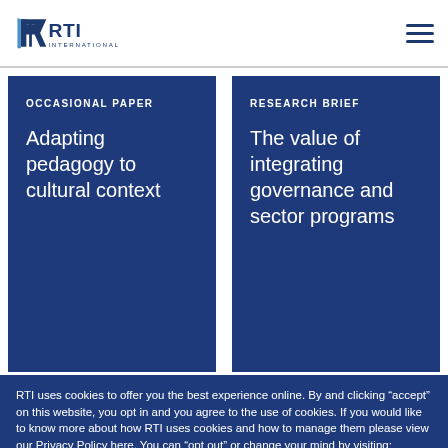RTI International
OCCASIONAL PAPER
Adapting pedagogy to cultural context
RESEARCH BRIEF
The value of integrating governance and sector programs
RTI uses cookies to offer you the best experience online. By and clicking “accept” on this website, you opt in and you agree to the use of cookies. If you would like to know more about how RTI uses cookies and how to manage them please view our Privacy Policy here. You can “opt out” or change your mind by visiting: http://optout.aboutads.info/. Click “accept” to agree.
ACCEPT